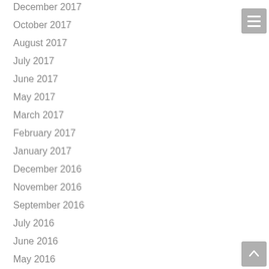December 2017
October 2017
August 2017
July 2017
June 2017
May 2017
March 2017
February 2017
January 2017
December 2016
November 2016
September 2016
July 2016
June 2016
May 2016